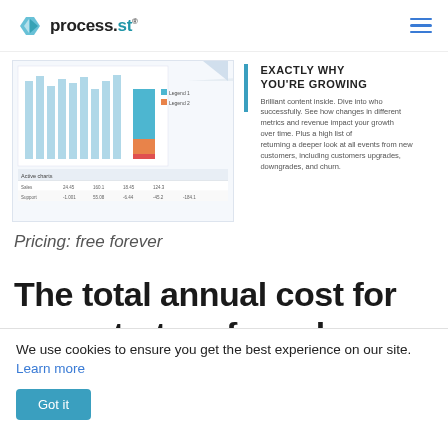process.st
[Figure (screenshot): Screenshot of a process.st analytics dashboard showing a bar chart with blue bars and a table below with activity metrics]
EXACTLY WHY YOU'RE GROWING
Brilliant content inside. Dive into who successfully. See how changes in different metrics and revenue impact your growth over time. Plus a full list of returning a deeper look at all events from new customers, including customers upgrades, upgrades, downgrades, and churn.
Pricing: free forever
The total annual cost for your startup: free plans
We use cookies to ensure you get the best experience on our site. Learn more
Got it